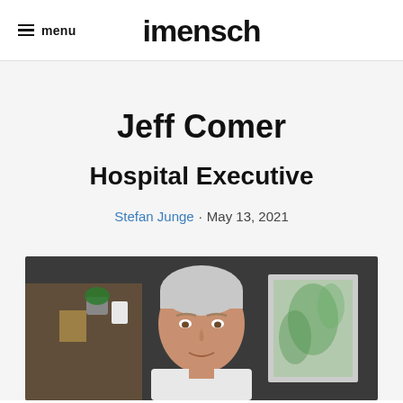menu | imensch
Jeff Comer
Hospital Executive
Stefan Junge · May 13, 2021
[Figure (photo): Photo of Jeff Comer, a man with short gray hair, photographed indoors in front of a dark wall with framed artwork and a shelf with a small plant.]